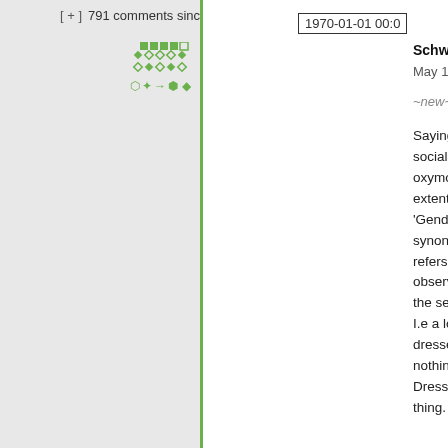[ + ]  791 comments since  1970-01-01 00:0
[Figure (illustration): Green pixel-art style icon/avatar with diamond and arrow patterns]
SchwarzeKatze s
May 18, 2017 at 4:
~new~
Saying that gende social construct is oxymoron. It isn't extent, it is by def 'Gender' is not a synonym for "sex" refers specifically observed differen the sexes that are I.e a lot of wome dresses but dress nothing to do with Dresses are a ge thing. Breasts on